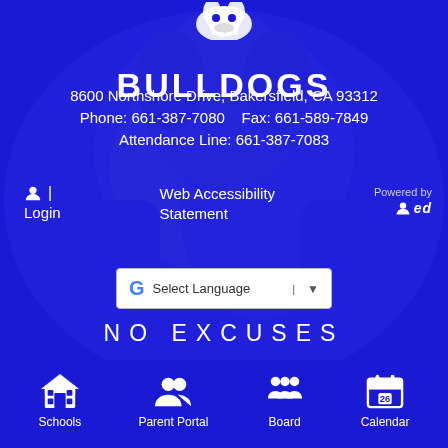BULLDOGS
8600 Northshore Drive, Bakersfield, CA 93312
Phone: 661-387-7080    Fax: 661-589-7849
Attendance Line: 661-387-7083
Login
Web Accessibility Statement
Powered by ed
[Figure (screenshot): Google Translate select language dropdown widget with Google G logo, 'Select Language' text and dropdown arrow]
NO EXCUSES
Schools
Parent Portal
Board
Calendar